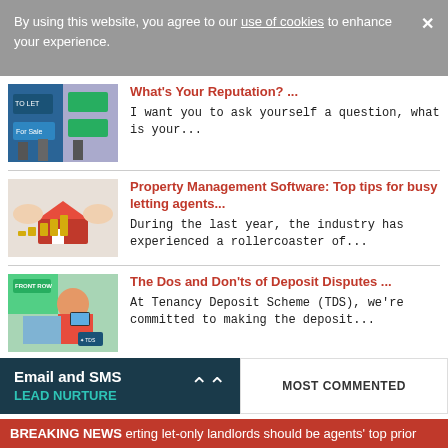By using this website, you agree to our use of cookies to enhance your experience.
[Figure (photo): Property for sale/to let estate agent signs outside buildings]
What's Your Reputation? ...
I want you to ask yourself a question, what is your...
[Figure (photo): Hands holding a small house model with coins stacked in background]
Property Management Software: Top tips for busy letting agents...
During the last year, the industry has experienced a rollercoaster of...
[Figure (photo): Woman sitting on sofa using a tablet, TDS branding visible]
The Dos and Don'ts of Deposit Disputes ...
At Tenancy Deposit Scheme (TDS), we're committed to making the deposit...
Email and SMS LEAD NURTURE
MOST COMMENTED
BREAKING NEWS erting let-only landlords should be agents' top prior